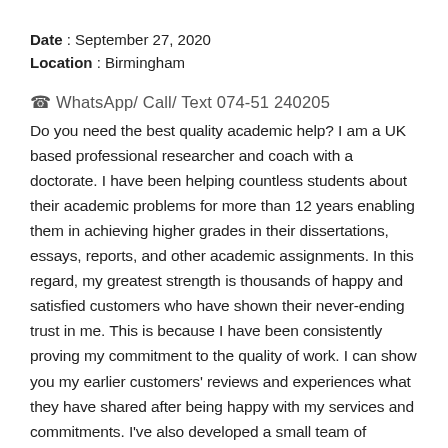Date : September 27, 2020
Location : Birmingham
☎ WhatsApp/ Call/ Text 074-51 240205
Do you need the best quality academic help? I am a UK based professional researcher and coach with a doctorate. I have been helping countless students about their academic problems for more than 12 years enabling them in achieving higher grades in their dissertations, essays, reports, and other academic assignments. In this regard, my greatest strength is thousands of happy and satisfied customers who have shown their never-ending trust in me. This is because I have been consistently proving my commitment to the quality of work. I can show you my earlier customers' reviews and experiences what they have shared after being happy with my services and commitments. I've also developed a small team of research colleagues from almost all subjects